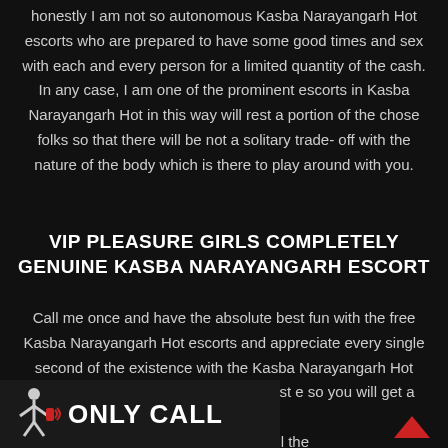honestly I am not so autonomous Kasba Narayangarh Hot escorts who are prepared to have some good times and sex with each and every person for a limited quantity of the cash. In any case, I am one of the prominent escorts in Kasba Narayangarh Hot in this way will rest a portion of the chose folks so that there will be not a solitary trade-off with the nature of the body which is there to play around with you.
VIP PLEASURE GIRLS COMPLETELY GENUINE KASBA NARAYANGARH ESCORT
Call me once and have the absolute best fun with the free Kasba Narayangarh Hot escorts and appreciate every single second of the existence with the Kasba Narayangarh Hot escorts and increase probably the best e so you will get a portion of rry on with your life all the
[Figure (other): Banner with red phone figure icon and text ONLY CALL]
[Figure (other): Red upward arrow chevron in bottom right corner]